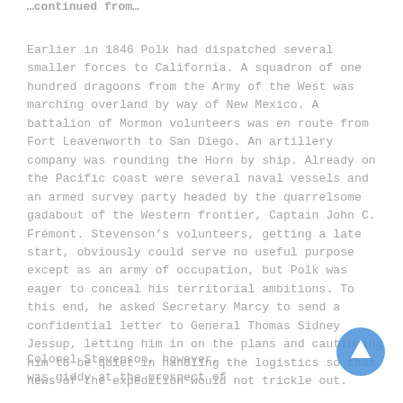…continued from…
Earlier in 1846 Polk had dispatched several smaller forces to California. A squadron of one hundred dragoons from the Army of the West was marching overland by way of New Mexico. A battalion of Mormon volunteers was en route from Fort Leavenworth to San Diego. An artillery company was rounding the Horn by ship. Already on the Pacific coast were several naval vessels and an armed survey party headed by the quarrelsome gadabout of the Western frontier, Captain John C. Frémont. Stevenson's volunteers, getting a late start, obviously could serve no useful purpose except as an army of occupation, but Polk was eager to conceal his territorial ambitions. To this end, he asked Secretary Marcy to send a confidential letter to General Thomas Sidney Jessup, letting him in on the plans and cautioning him to be quiet in handling the logistics so that news of the expedition would not trickle out.
Colonel Stevenson, however, was giddy at the prospect of
[Figure (other): Blue circular button with upward arrow icon]